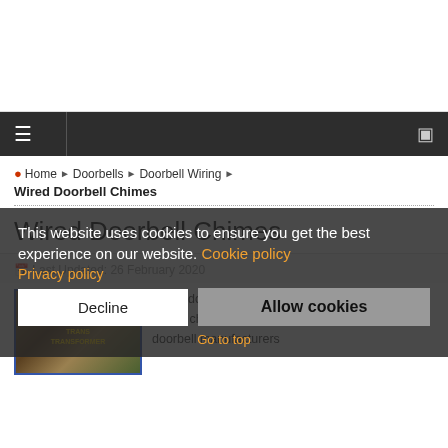[Figure (other): Advertisement banner area (white space)]
≡   [hamburger menu] [monitor icon]
Home ▶ Doorbells ▶ Doorbell Wiring ▶ Wired Doorbell Chimes
Wired Doorbell Chimes
Last Updated: 26 February 2020
[Figure (photo): Photo of wired doorbell chime components]
Wired doorbell chimes are the part that makes the bell or chimes ring. There are a lot of different doorbell manufacturers
This website uses cookies to ensure you get the best experience on our website. Cookie policy Privacy policy
Decline   Allow cookies
Go to top